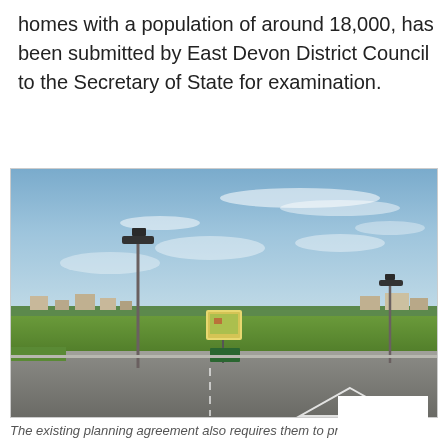homes with a population of around 18,000, has been submitted by East Devon District Council to the Secretary of State for examination.
[Figure (photo): Outdoor photograph showing a roundabout or road junction with street lights, green grass, a notice board or sign in the middle distance, residential buildings on the horizon, and a partly cloudy blue sky. A Google reCAPTCHA Privacy - Terms badge overlays the top-right corner of the image.]
The existing planning agreement also requires them to provide town